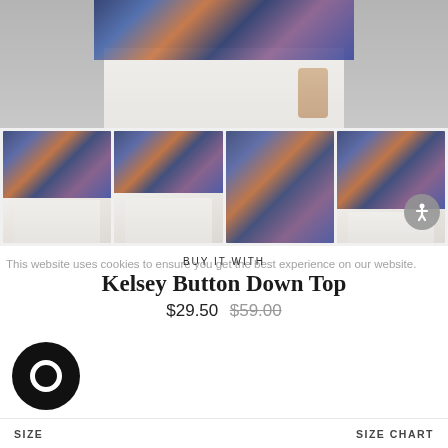[Figure (photo): Cropped main product photo showing bottom portion of model wearing a paisley print button-down top and white pants against a grey background]
[Figure (photo): Four thumbnail product photos showing the Kelsey Button Down Top from different angles: front, tied front, back, and side view, all with white pants]
This website uses cookies to ensure you get the best experience on our website.
BUY IT WITH
Kelsey Button Down Top
$29.50 $59.00
SIZE
SIZE CHART